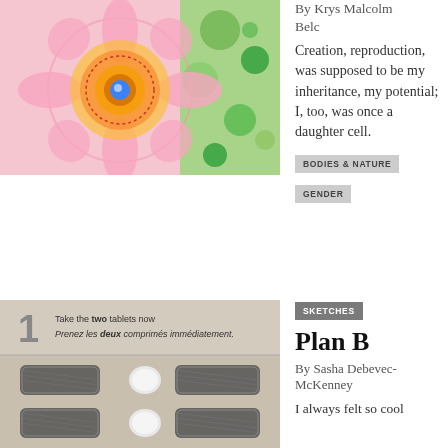[Figure (illustration): Colorful mandala-like circular artwork with pink, orange, yellow, and green patterns]
By Krys Malcolm Belc
Creation, reproduction, was supposed to be my inheritance, my potential; I, too, was once a daughter cell.
BODIES & NATURE
GENDER
[Figure (photo): Close-up photo of a Plan B pill blister pack with instructions: 'Take the two tablets now / Prenez les deux comprimés immédiatement.' with number 1, showing two rows of pills in metallic packaging]
SKETCHES
Plan B
By Sasha Debevec-McKenney
I always felt so cool